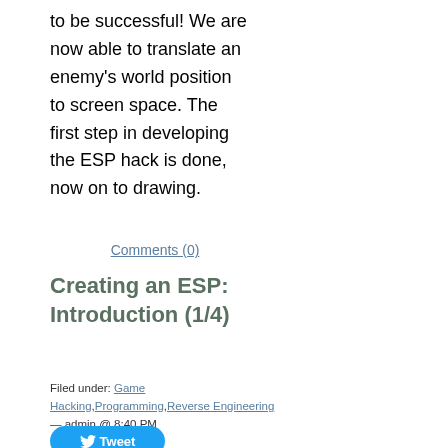to be successful! We are now able to translate an enemy's world position to screen space. The first step in developing the ESP hack is done, now on to drawing.
Comments (0)
Creating an ESP: Introduction (1/4)
Filed under: Game Hacking, Programming, Reverse Engineering — admin @ 8:40 PM
[Figure (other): Tweet button with Twitter bird icon]
[Figure (other): Follow button with Twitter bird icon]